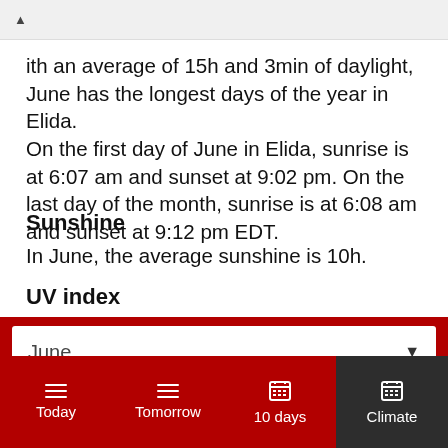ith an average of 15h and 3min of daylight, June has the longest days of the year in Elida. On the first day of June in Elida, sunrise is at 6:07 am and sunset at 9:02 pm. On the last day of the month, sunrise is at 6:08 am and sunset at 9:12 pm EDT.
Sunshine
In June, the average sunshine is 10h.
UV index
June
Today | Tomorrow | 10 days | Climate